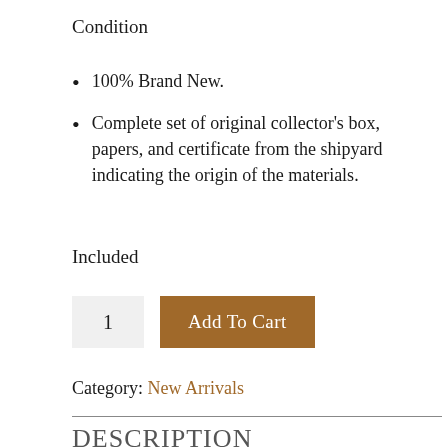Condition
100% Brand New.
Complete set of original collector's box, papers, and certificate from the shipyard indicating the origin of the materials.
Included
1  Add To Cart
Category: New Arrivals
DESCRIPTION